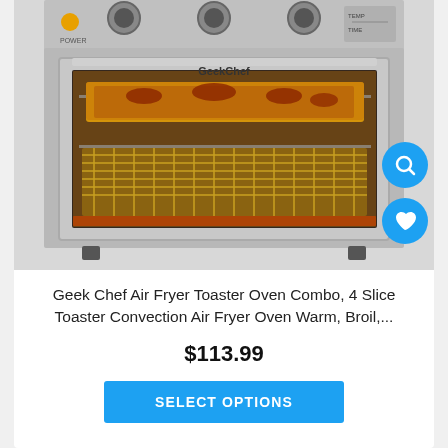[Figure (photo): Geek Chef air fryer toaster oven combo product photo showing the stainless steel appliance with glass door revealing food cooking on two racks inside, with control knobs on top. Two blue circular icon buttons overlay the image: a search/magnify icon and a heart/wishlist icon.]
Geek Chef Air Fryer Toaster Oven Combo, 4 Slice Toaster Convection Air Fryer Oven Warm, Broil,...
$113.99
SELECT OPTIONS